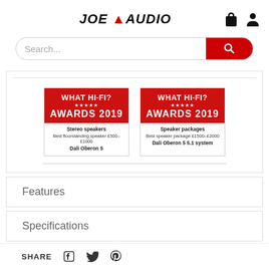JOE AUDIO
Search...
[Figure (illustration): What Hi-Fi? Awards 2019 badge for Stereo speakers - Best floorstanding speaker £500-£1000 - Dali Oberon 5]
[Figure (illustration): What Hi-Fi? Awards 2019 badge for Speaker packages - Best speaker package £1500-£2000 - Dali Oberon 5 5.1 system]
Features
Specifications
SHARE